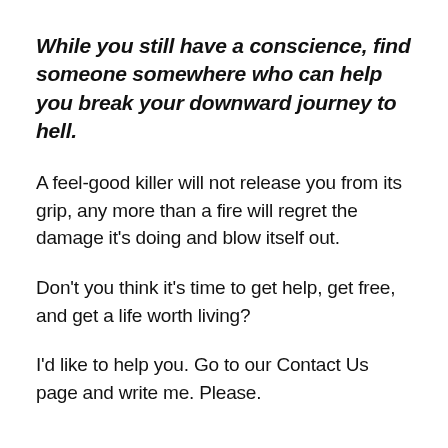While you still have a conscience, find someone somewhere who can help you break your downward journey to hell.
A feel-good killer will not release you from its grip, any more than a fire will regret the damage it's doing and blow itself out.
Don't you think it's time to get help, get free, and get a life worth living?
I'd like to help you. Go to our Contact Us page and write me. Please.